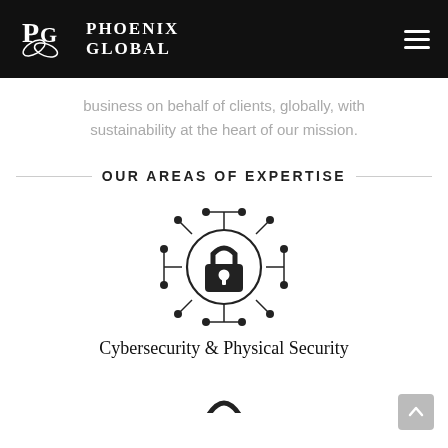Phoenix Global
business on behalf of clients, globally, with sustainability at the heart of our mission.
OUR AREAS OF EXPERTISE
[Figure (illustration): Cybersecurity icon: a padlock at the center of a circuit-board style network diagram with dots and lines radiating outward]
Cybersecurity & Physical Security
[Figure (illustration): Partial view of another expertise icon at the bottom of the page]